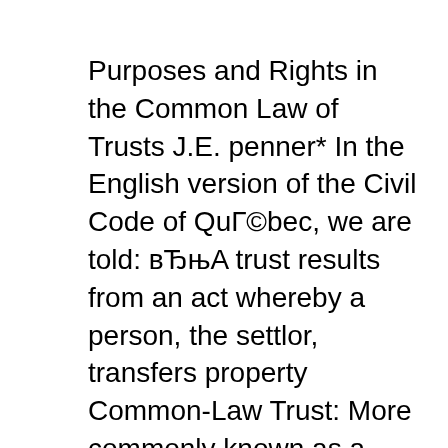Purposes and Rights in the Common Law of Trusts J.E. penner* In the English version of the Civil Code of QuÃ©bec, we are told: вЂњA trust results from an act whereby a person, the settlor, transfers property Common-Law Trust: More commonly known as a Business Trust or a Massachusetts trust. A business organization for investment purposes by which trustees manage and control property for the benefit of beneficiaries who are protected against personal liability for any losses incurred.
The organization of a Common Law Business Trust was held not unlawful. Subscription to stock in a Common Law